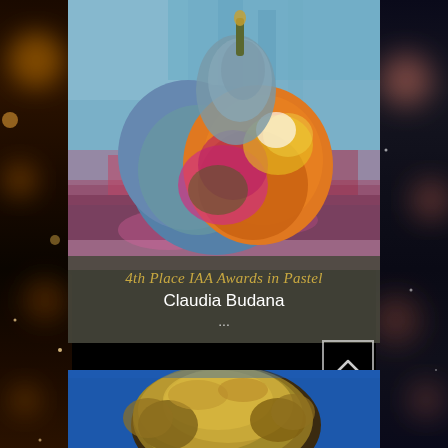[Figure (photo): Colorful pastel painting of a pear with vivid orange, blue, pink, and purple hues against an abstract background]
4th Place IAA Awards in Pastel
Claudia Budana
...
[Figure (photo): Close-up portrait photo of a person with curly blonde hair against a blue background]